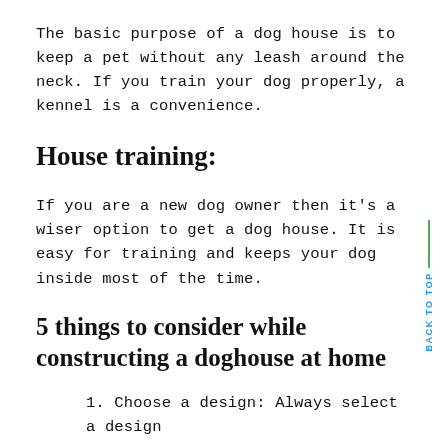The basic purpose of a dog house is to keep a pet without any leash around the neck. If you train your dog properly, a kennel is a convenience.
House training:
If you are a new dog owner then it's a wiser option to get a dog house. It is easy for training and keeps your dog inside most of the time.
5 things to consider while constructing a doghouse at home
1. Choose a design: Always select a design